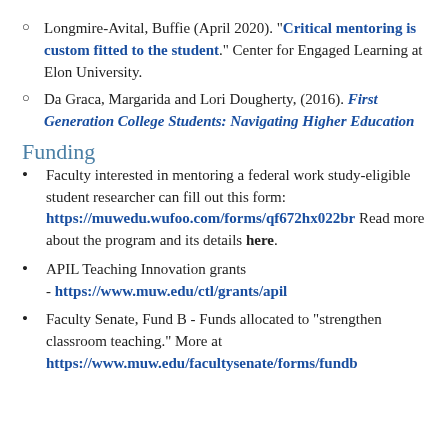Longmire-Avital, Buffie (April 2020). "Critical mentoring is custom fitted to the student." Center for Engaged Learning at Elon University.
Da Graca, Margarida and Lori Dougherty, (2016). First Generation College Students: Navigating Higher Education
Funding
Faculty interested in mentoring a federal work study-eligible student researcher can fill out this form: https://muwedu.wufoo.com/forms/qf672hx022br Read more about the program and its details here.
APIL Teaching Innovation grants - https://www.muw.edu/ctl/grants/apil
Faculty Senate, Fund B - Funds allocated to "strengthen classroom teaching." More at https://www.muw.edu/facultysenate/forms/fundb